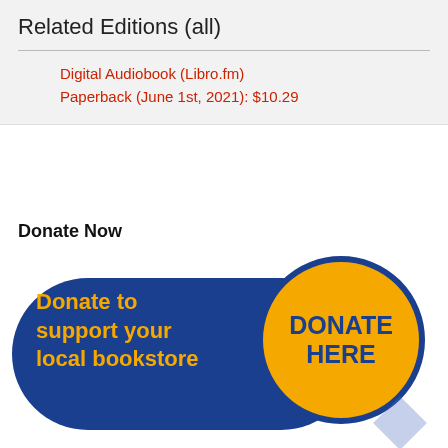Related Editions (all)
Digital Audiobook (Libro.fm)
Paperback (June 1st, 2021): $10.29
Donate Now
[Figure (illustration): Donate to support your local bookstore banner with blue pill shape on left containing yellow text and a yellow circle on the right with 'DONATE HERE' in blue text]